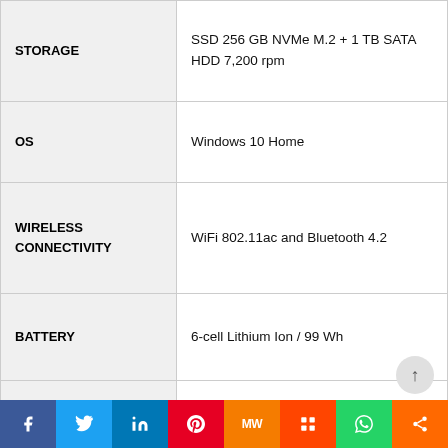| FEATURE | VALUE |
| --- | --- |
| STORAGE | SSD 256 GB NVMe M.2 + 1 TB SATA HDD 7,200 rpm |
| OS | Windows 10 Home |
| WIRELESS CONNECTIVITY | WiFi 802.11ac and Bluetooth 4.2 |
| BATTERY | 6-cell Lithium Ion / 99 Wh |
| PORTS | 1 x RJ-45/2 x Thunderbolt 3 USB-C / 3 x USB A (3.1 Gen1) / 1 x Mini-Display Port / 1 x HDMI / 1 x combo headset and microphone / 1 x microphone / 1 x card reader SD |